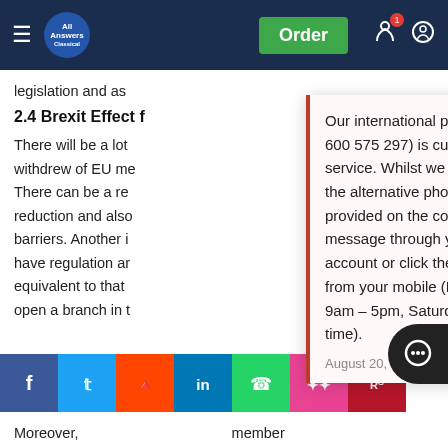All Answers Ltd — navigation bar with Order button
legislation and as
2.4 Brexit Effect f
There will be a lot withdrew of EU me There can be a re reduction and also barriers. Another i have regulation ar equivalent to that open a branch in t sell their products and services in EU area. This branch has to be regulated by the authorities of country where has the base. Furthermore, UK supervision and regu would be subject to continuous assessments.
[Figure (screenshot): Popup notification stating: Our international phone number (+971 600 575 297) is currently out of service. Whilst we fix this, please use the alternative phone numbers provided on the contact page, message through your customer account or click the WhatsApp button from your mobile (Monday – Friday 9am – 5pm, Saturday 10am – 6pm UK time). August 20, 2022]
Moreover, a member